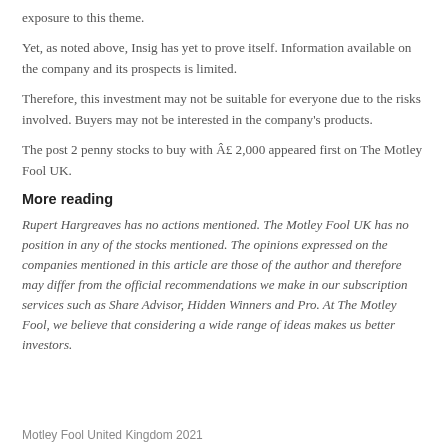exposure to this theme.
Yet, as noted above, Insig has yet to prove itself. Information available on the company and its prospects is limited.
Therefore, this investment may not be suitable for everyone due to the risks involved. Buyers may not be interested in the company's products.
The post 2 penny stocks to buy with Â£ 2,000 appeared first on The Motley Fool UK.
More reading
Rupert Hargreaves has no actions mentioned. The Motley Fool UK has no position in any of the stocks mentioned. The opinions expressed on the companies mentioned in this article are those of the author and therefore may differ from the official recommendations we make in our subscription services such as Share Advisor, Hidden Winners and Pro. At The Motley Fool, we believe that considering a wide range of ideas makes us better investors.
Motley Fool United Kingdom 2021